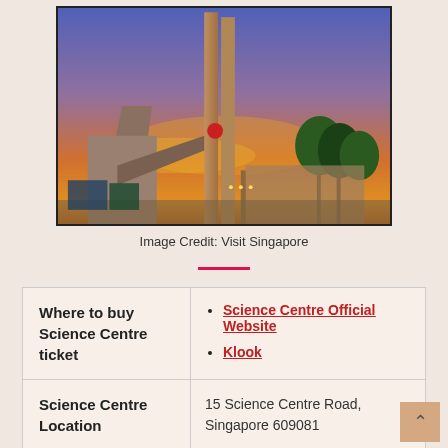[Figure (photo): Exterior photo of Science Centre Singapore at dusk/sunset showing twin spired towers and colorful sky]
Image Credit: Visit Singapore
| Where to buy Science Centre ticket | Science Centre Official Website
Klook |
| Science Centre Location | 15 Science Centre Road, Singapore 609081 |